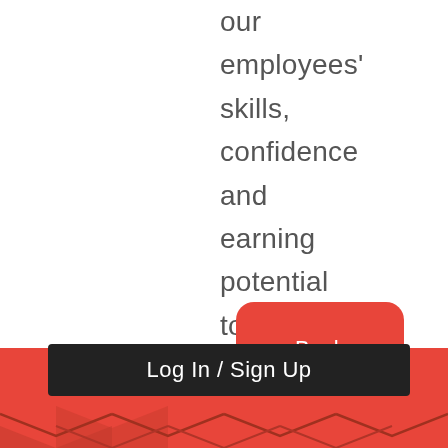our employees' skills, confidence and earning potential to the next level."
Back to all News
Log In / Sign Up